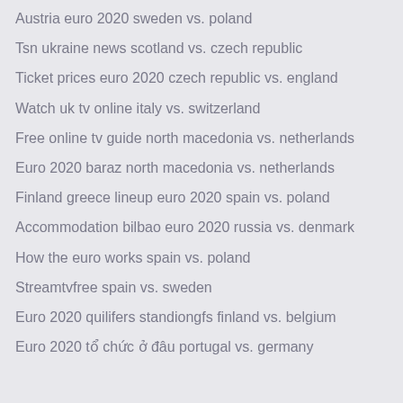Austria euro 2020 sweden vs. poland
Tsn ukraine news scotland vs. czech republic
Ticket prices euro 2020 czech republic vs. england
Watch uk tv online italy vs. switzerland
Free online tv guide north macedonia vs. netherlands
Euro 2020 baraz north macedonia vs. netherlands
Finland greece lineup euro 2020 spain vs. poland
Accommodation bilbao euro 2020 russia vs. denmark
How the euro works spain vs. poland
Streamtvfree spain vs. sweden
Euro 2020 quilifers standiongfs finland vs. belgium
Euro 2020 tổ chức ở đâu portugal vs. germany